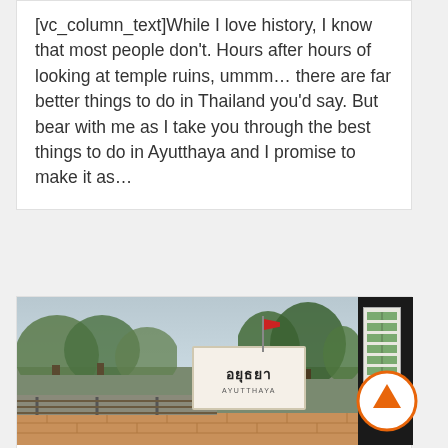[vc_column_text]While I love history, I know that most people don't. Hours after hours of looking at temple ruins, ummm… there are far better things to do in Thailand you'd say. But bear with me as I take you through the best things to do in Ayutthaya and I promise to make it as…
[Figure (photo): Ayutthaya railway station platform with tracks, station sign reading อยุธยา / AYUTTHAYA, a Thai flag on a pole, trees in background, and a dark canopy structure with an information board on the right side.]
How To Reach Ayutthaya Fr...